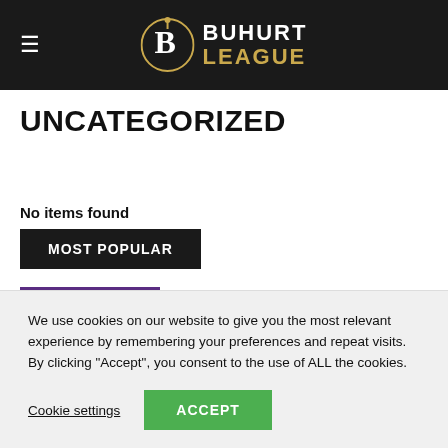BUHURT LEAGUE
UNCATEGORIZED
No items found
MOST POPULAR
[Figure (photo): Thumbnail photo of armored knights fighting, with a purple background]
Re vie
We use cookies on our website to give you the most relevant experience by remembering your preferences and repeat visits. By clicking “Accept”, you consent to the use of ALL the cookies.
Cookie settings
ACCEPT